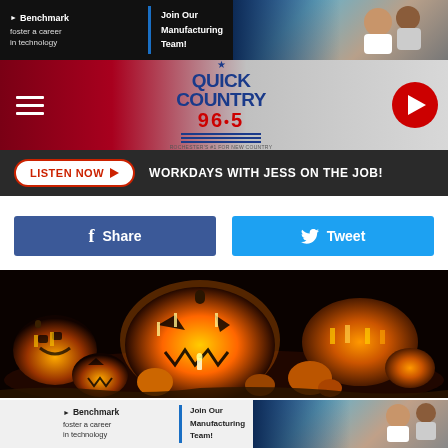[Figure (infographic): Benchmark advertisement banner: 'foster a career in technology' with 'Join Our Manufacturing Team!' and photo of professionals in lab coats]
[Figure (logo): Quick Country 96.5 radio station logo — red, white, and blue with star and horizontal stripes. Navigation bar with hamburger menu and red circular play button.]
LISTEN NOW ▶  WORKDAYS WITH JESS ON THE JOB!
Share
Tweet
[Figure (photo): Halloween scene with many glowing jack-o'-lantern pumpkins carved with faces, illuminated in orange and yellow against a dark background]
[Figure (infographic): Benchmark advertisement banner (repeated): 'foster a career in technology' with 'Join Our Manufacturing Team!']